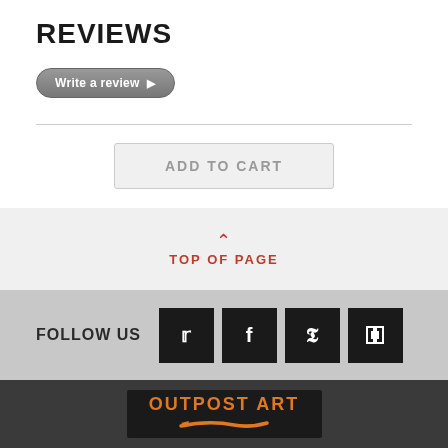REVIEWS
Write a review ▶
ADD TO CART
TOP OF PAGE
FOLLOW US
[Figure (logo): Social media icons: Twitter, Facebook, Pinterest, and another icon on black square backgrounds]
[Figure (logo): Outpost Art logo on black background with orange brush stroke]
Our Products
ARTISTS